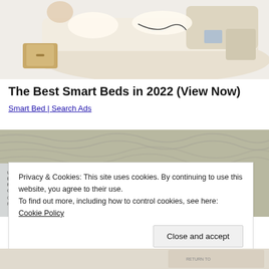[Figure (photo): Cropped top portion of a smart bed with storage drawers, beige/cream upholstery, showing open compartments with items inside.]
The Best Smart Beds in 2022 (View Now)
Smart Bed | Search Ads
[Figure (photo): Cropped image of a US government envelope/tax form with partial address text: US DEPARTMENT OF THE TREASURY, BUREAU OF THE FISCAL SERVICE, PO BOX 1820, GLACOLYNA, PENNSYLVANIA 19112-6820, FOR PRIVATE USE ONLY. Partially visible text about forgery of endorsements being a federal crime. $10,000 fine.]
Privacy & Cookies: This site uses cookies. By continuing to use this website, you agree to their use.
To find out more, including how to control cookies, see here: Cookie Policy
Close and accept